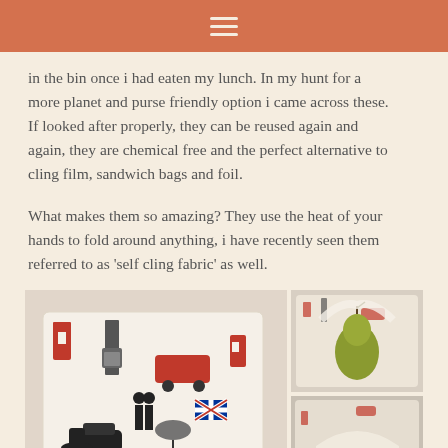≡
in the bin once i had eaten my lunch. In my hunt for a more planet and purse friendly option i came across these. If looked after properly, they can be reused again and again, they are chemical free and the perfect alternative to cling film, sandwich bags and foil.
What makes them so amazing? They use the heat of your hands to fold around anything, i have recently seen them referred to as 'self cling fabric' as well.
[Figure (photo): Three photos showing London-themed beeswax wraps with Union Jack, Big Ben, and red bus patterns. Left large photo shows flat wrap, top right shows wrap around a pear, bottom right shows wrap being held. Watermark reads © Polite Dreams Photography.]